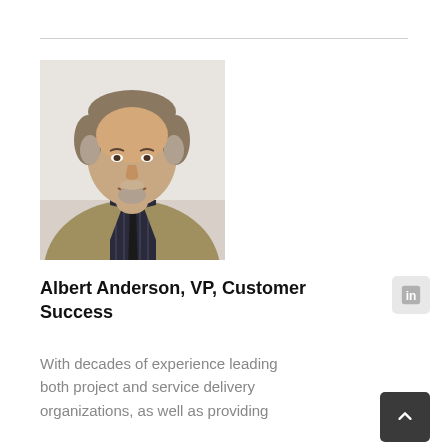[Figure (photo): Professional headshot of Albert Anderson, a middle-aged man with short grey-brown hair and a goatee, wearing a grey blazer over a dark striped shirt, smiling against a light background.]
Albert Anderson, VP, Customer Success
With decades of experience leading both project and service delivery organizations, as well as providing